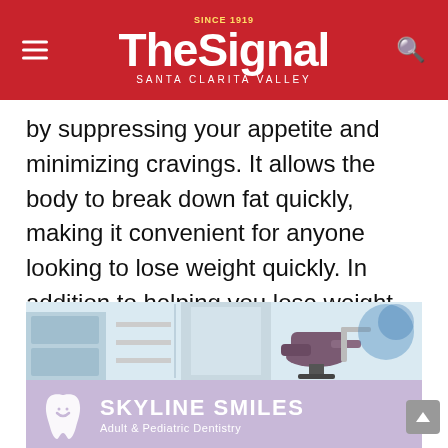The Signal — Santa Clarita Valley
by suppressing your appetite and minimizing cravings. It allows the body to break down fat quickly, making it convenient for anyone looking to lose weight quickly. In addition to helping you lose weight quickly, the consumption of this natural supplement claims to be able to increase serotonin levels and regulate blood pressure ranges.
[Figure (photo): Advertisement for Skyline Smiles Adult & Pediatric Dentistry showing a dental office interior with a dental chair, and a lavender banner with the Skyline Smiles logo and tagline.]